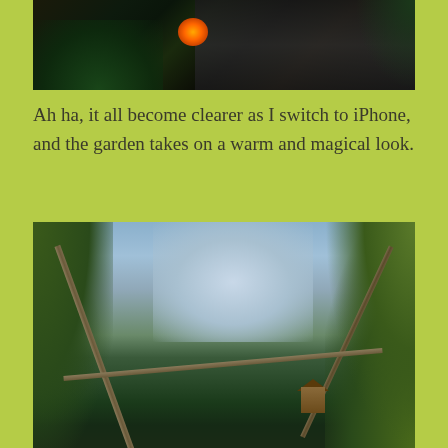[Figure (photo): Dark nighttime garden photo showing glowing orange light (lantern or fire) surrounded by dark foliage and a dark stone wall background]
Ah ha, it all become clearer as I switch to iPhone, and the garden takes on a warm and magical look.
[Figure (photo): Daytime garden photo showing crossed wooden poles/sticks forming a teepee or support structure, surrounded by trees and foliage with a pale sky, and a small birdhouse on a post to the right]